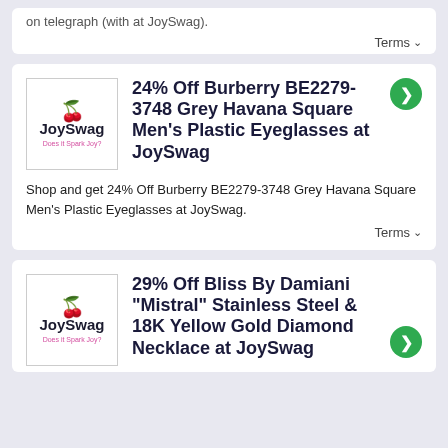on telegraph (with at JoySwag).
Terms
[Figure (logo): JoySwag logo with cherry icon and tagline 'Does it Spark Joy?']
24% Off Burberry BE2279-3748 Grey Havana Square Men's Plastic Eyeglasses at JoySwag
Shop and get 24% Off Burberry BE2279-3748 Grey Havana Square Men's Plastic Eyeglasses at JoySwag.
Terms
[Figure (logo): JoySwag logo with cherry icon and tagline 'Does it Spark Joy?']
29% Off Bliss By Damiani "Mistral" Stainless Steel & 18K Yellow Gold Diamond Necklace at JoySwag